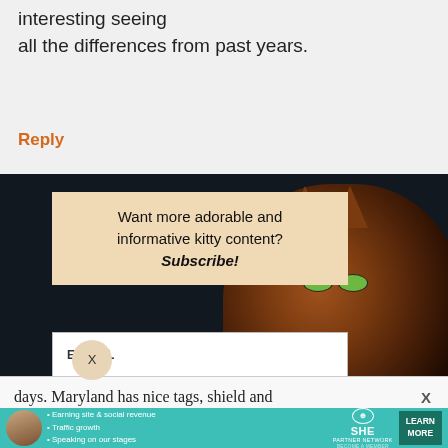interesting seeing all the differences from past years.
Reply
[Figure (screenshot): Dark background popup/modal with cat photo on right side and email subscription form]
Want more adorable and informative kitty content? Subscribe!
EMAIL
Submit
X
days. Maryland has nice tags, shield and
[Figure (infographic): SHE Partner Network advertisement banner with teal background. Bullets: Earning site & social revenue, Traffic growth, Speaking on our stages. LEARN MORE button.]